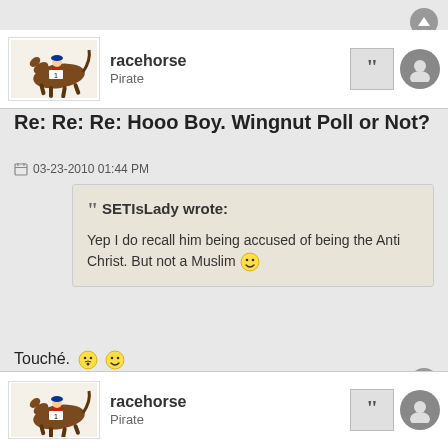[Figure (other): User avatar showing racehorse with jockey]
racehorse
Pirate
Re: Re: Re: Hooo Boy. Wingnut Poll or Not?
03-23-2010 01:44 PM
SETIsLady wrote:
Yep I do recall him being accused of being the Anti Christ. But not a Muslim 😀
Touché. 😛 😊
racehorse
[Figure (other): Starburst/asterisk decorative icon]
[Figure (other): User avatar showing racehorse with jockey (second post)]
racehorse
Pirate